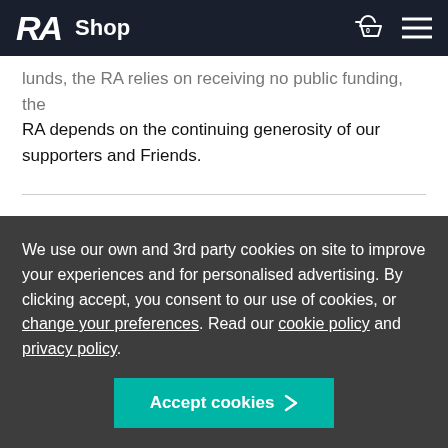RA Shop
... the RA depends on the continuing generosity of our supporters and Friends.
Shopping at the Royal Academy
We use our own and 3rd party cookies on site to improve your experiences and for personalised advertising. By clicking accept, you consent to our use of cookies, or change your preferences. Read our cookie policy and privacy policy.
Accept cookies